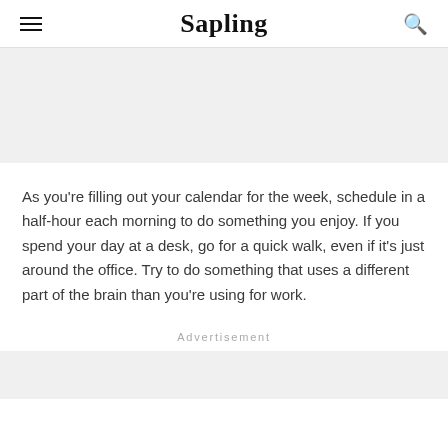Sapling
As you're filling out your calendar for the week, schedule in a half-hour each morning to do something you enjoy. If you spend your day at a desk, go for a quick walk, even if it's just around the office. Try to do something that uses a different part of the brain than you're using for work.
Advertisement